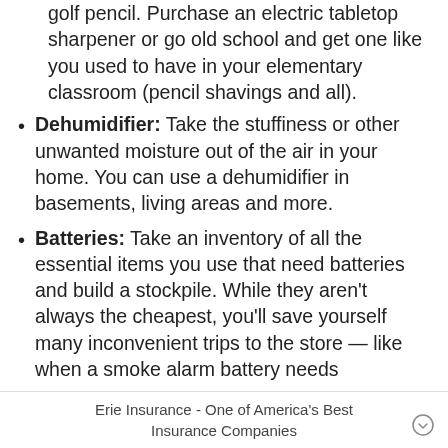golf pencil. Purchase an electric tabletop sharpener or go old school and get one like you used to have in your elementary classroom (pencil shavings and all).
Dehumidifier: Take the stuffiness or other unwanted moisture out of the air in your home. You can use a dehumidifier in basements, living areas and more.
Batteries: Take an inventory of all the essential items you use that need batteries and build a stockpile. While they aren't always the cheapest, you'll save yourself many inconvenient trips to the store — like when a smoke alarm battery needs
Erie Insurance - One of America's Best Insurance Companies